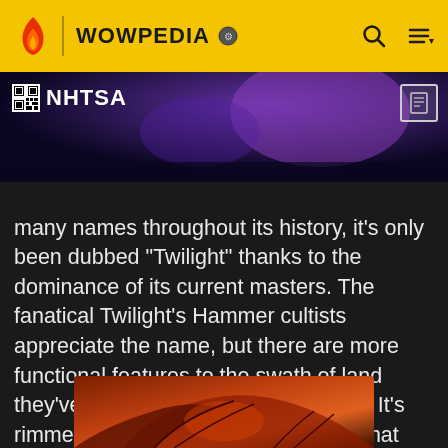WOWPEDIA
[Figure (screenshot): Dark purple/blue banner image with NHTSA logo overlay in top left and a scroll/document icon in top right]
many names throughout its history, it's only been dubbed "Twilight" thanks to the dominance of its current masters. The fanatical Twilight's Hammer cultists appreciate the name, but there are more functional features to the swath of land they've chosen as their headquarters. It's rimmed by massive mountain peaks that scrape at the sky like fingernails, making invasion by land nearly impossible, and the highlands' black-glass beaches ensure that marine assaults are fraught with terror; ships docking on the peninsula risk running aground.
[Figure (illustration): Fantasy illustration showing a winged creature or character with orange/brown tones at the bottom of the page]